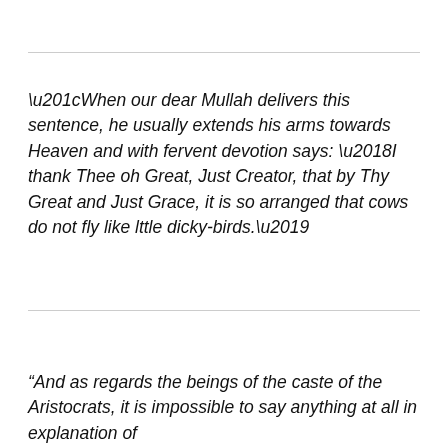“When our dear Mullah delivers this sentence, he usually extends his arms towards Heaven and with fervent devotion says: ‘I thank Thee oh Great, Just Creator, that by Thy Great and Just Grace, it is so arranged that cows do not fly like lttle dicky-birds.’
“And as regards the beings of the caste of the Aristocrats, it is impossible to say anything at all in explanation of